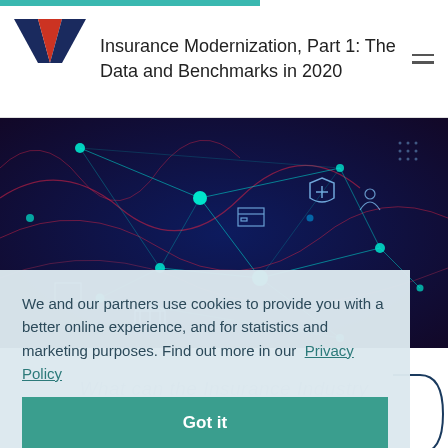Insurance Modernization, Part 1: The Data and Benchmarks in 2020
[Figure (illustration): Dark blue/purple network diagram with glowing teal nodes and lines, featuring icons of a bank, shield with cross, credit card, computer, and other digital/financial symbols connected by a geometric mesh network with pink/red wave lines]
We and our partners use cookies to provide you with a better online experience, and for statistics and marketing purposes. Find out more in our  Privacy Policy
Got it
What can the Insurance Industry
Download as PDF